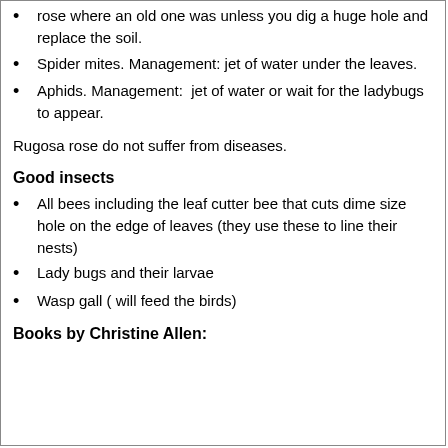rose where an old one was unless you dig a huge hole and replace the soil.
Spider mites. Management: jet of water under the leaves.
Aphids. Management:  jet of water or wait for the ladybugs to appear.
Rugosa rose do not suffer from diseases.
Good insects
All bees including the leaf cutter bee that cuts dime size hole on the edge of leaves (they use these to line their nests)
Lady bugs and their larvae
Wasp gall ( will feed the birds)
Books by Christine Allen: